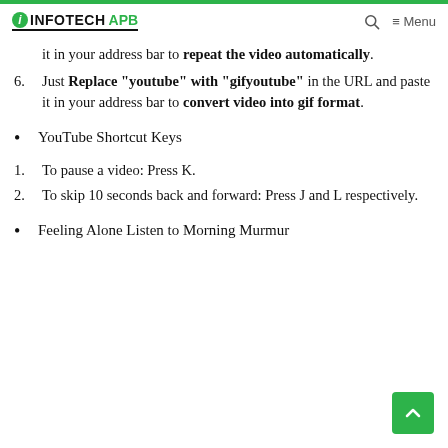i INFOTECH APB
it in your address bar to repeat the video automatically.
6. Just Replace "youtube" with "gifyoutube" in the URL and paste it in your address bar to convert video into gif format.
YouTube Shortcut Keys
1. To pause a video: Press K.
2. To skip 10 seconds back and forward: Press J and L respectively.
Feeling Alone Listen to Morning Murmur